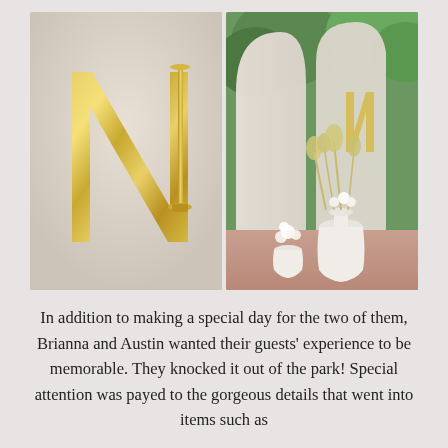[Figure (photo): Two side-by-side wedding photos. Left photo shows a large gold metallic letter 'N' against a light beige background with a tall gold candlestick holder. Right photo shows a light blush/cream curved arch panel backdrop with white and dried floral arrangements in vases on the floor, set outdoors with greenery visible.]
In addition to making a special day for the two of them, Brianna and Austin wanted their guests' experience to be memorable. They knocked it out of the park! Special attention was payed to the gorgeous details that went into items such as